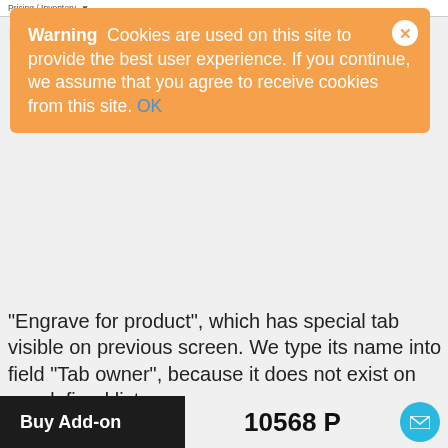Pricing / Inventory
Warning  Cookies are used on this site to provide the best user experience. If you continue, we assume that you agree to receive cookies from this site. OK
"Engrave for product", which has special tab visible on previous screen. We type its name into field "Tab owner", because it does not exist on pre-defined list:
[Figure (screenshot): Screenshot of a 'New tab' configuration form with fields: Name (Block,engrave), Part of the admin, Tab Id (Select), Tab owner id (no engrave: foo - with red arrow pointing to field), Part of the page to block id (Select), Status (Active / Disabled). A Preview button is in the top right.]
Buy Add-on
10568 P